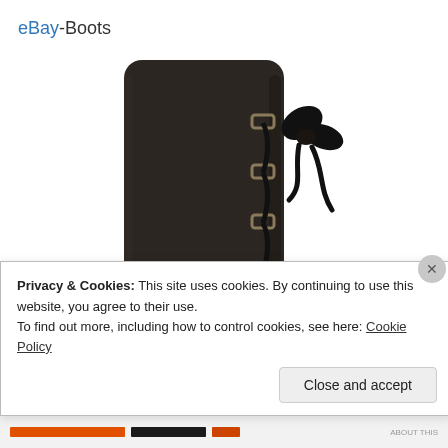eBay-Boots
[Figure (photo): Close-up photo of a dark brown/black suede boot with metal D-ring lace hooks and a black ribbon lace tied in a bow, showing the side and back of the boot shaft against a white background.]
Privacy & Cookies: This site uses cookies. By continuing to use this website, you agree to their use.
To find out more, including how to control cookies, see here: Cookie Policy
Close and accept